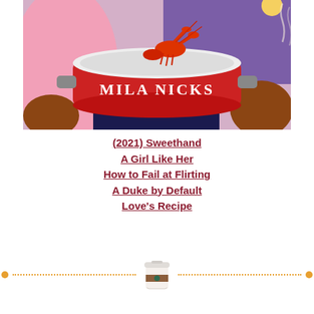[Figure (illustration): Book cover illustration showing a large red cooking pot with a lobster on top, the author name MILA NICKS written on the pot, with colorful background figures on pink and purple.]
(2021) Sweethand
A Girl Like Her
How to Fail at Flirting
A Duke by Default
Love's Recipe
[Figure (illustration): A decorative divider with an orange dotted line and orange circle endpoints, with a coffee cup emoji/icon in the center.]